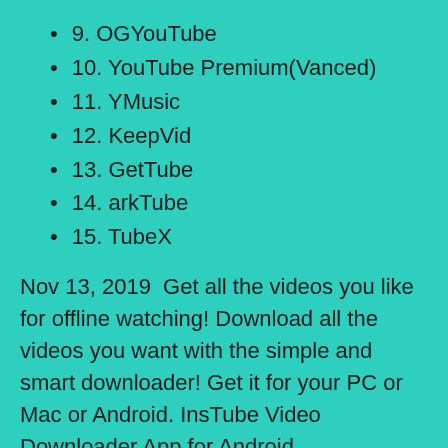9. OGYouTube
10. YouTube Premium(Vanced)
11. YMusic
12. KeepVid
13. GetTube
14. arkTube
15. TubeX
Nov 13, 2019  Get all the videos you like for offline watching! Download all the videos you want with the simple and smart downloader! Get it for your PC or Mac or Android. InsTube Video Downloader App for Android. Downloaded by over 40,000,000 users, InsTube ranks the top video downloader apps for Android.Downloading videos has never been this easy with InsTube. Get this small tool to stream various videos, movies and music now!